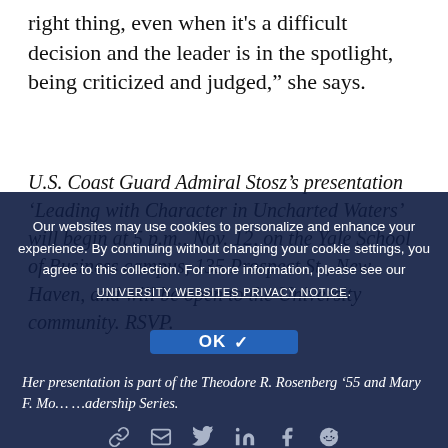right thing, even when it's a difficult decision and the leader is in the spotlight, being criticized and judged,” she says.
U.S. Coast Guard Admiral Stosz’s presentation ‘Leading with Character in Uncharted Waters’ will begin at 5 p.m., Nov. 12, on the Yale School of Business campus, 135 Prospect St., New Haven, and will be open to the University community. RSVP.
Our websites may use cookies to personalize and enhance your experience. By continuing without changing your cookie settings, you agree to this collection. For more information, please see our UNIVERSITY WEBSITES PRIVACY NOTICE.
OK ✓
Her presentation is part of the Theodore R. Rosenberg ’55 and Mary F. Mo... ...adership Series.